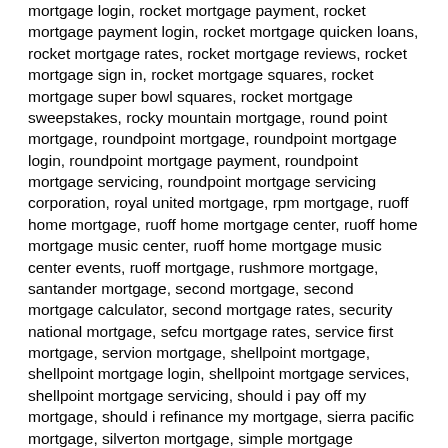mortgage login, rocket mortgage payment, rocket mortgage payment login, rocket mortgage quicken loans, rocket mortgage rates, rocket mortgage reviews, rocket mortgage sign in, rocket mortgage squares, rocket mortgage super bowl squares, rocket mortgage sweepstakes, rocky mountain mortgage, round point mortgage, roundpoint mortgage, roundpoint mortgage login, roundpoint mortgage payment, roundpoint mortgage servicing, roundpoint mortgage servicing corporation, royal united mortgage, rpm mortgage, ruoff home mortgage, ruoff home mortgage center, ruoff home mortgage music center, ruoff home mortgage music center events, ruoff mortgage, rushmore mortgage, santander mortgage, second mortgage, second mortgage calculator, second mortgage rates, security national mortgage, sefcu mortgage rates, service first mortgage, servion mortgage, shellpoint mortgage, shellpoint mortgage login, shellpoint mortgage services, shellpoint mortgage servicing, should i pay off my mortgage, should i refinance my mortgage, sierra pacific mortgage, silverton mortgage, simple mortgage calculator, sls mortgage, sofi mortgage, sprout mortgage, sps mortgage, standard mortgage, state home mortgage, stonegate mortgage, subprime mortgage, subprime mortgage crisis, summit credit union mortgage rates, sun west mortgage, sun west mortgage company, suncoast credit union mortgage rates, suntrust mortgage, suntrust mortgage login, suntrust mortgage payment, suntrust mortgage rates, suntrust.com/mortgage,